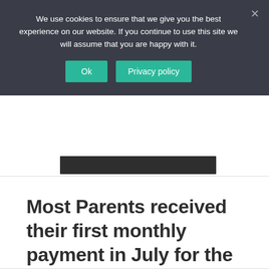We use cookies to ensure that we give you the best experience on our website. If you continue to use this site we will assume that you are happy with it.
Ok  Privacy policy
Most Parents received their first monthly payment in July for the Child Tax Credit.